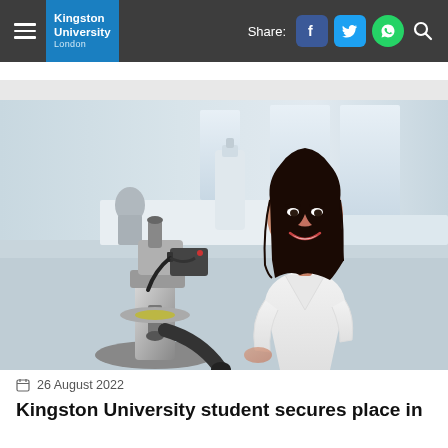Kingston University London — Share: [Facebook] [Twitter] [WhatsApp] [Search]
[Figure (photo): Young woman in a white lab coat smiling at the camera while seated at a microscope in a bright laboratory setting. The microscope has a camera attachment. Lab benches and equipment are visible in the background.]
26 August 2022
Kingston University student secures place in